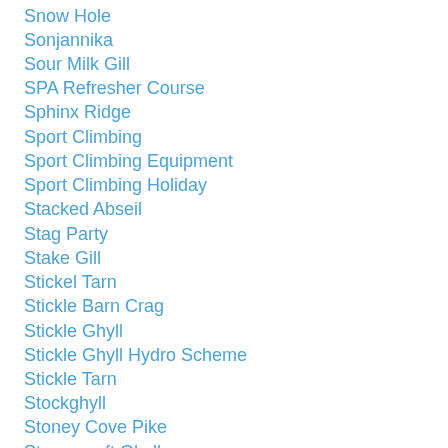Snow Hole
Sonjannika
Sour Milk Gill
SPA Refresher Course
Sphinx Ridge
Sport Climbing
Sport Climbing Equipment
Sport Climbing Holiday
Stacked Abseil
Stag Party
Stake Gill
Stickel Tarn
Stickle Barn Crag
Stickle Ghyll
Stickle Ghyll Hydro Scheme
Stickle Tarn
Stockghyll
Stoney Cove Pike
Stoneycroft Ghyll
Striding Edge
Suprise Walks